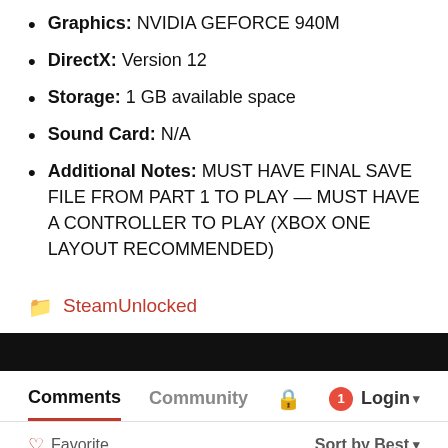Graphics: NVIDIA GEFORCE 940M
DirectX: Version 12
Storage: 1 GB available space
Sound Card: N/A
Additional Notes: MUST HAVE FINAL SAVE FILE FROM PART 1 TO PLAY — MUST HAVE A CONTROLLER TO PLAY (XBOX ONE LAYOUT RECOMMENDED)
SteamUnlocked
Comments  Community  🔒  1  Login
Favorite  Sort by Best
Start the discussion...